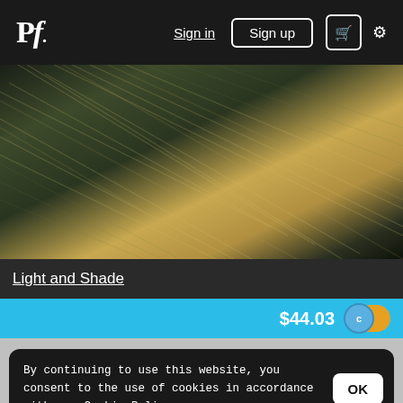Pf. | Sign in | Sign up | Cart | Settings
[Figure (photo): Close-up photograph of wild grass blowing diagonally, with golden and green tones against a dark background]
Light and Shade
$44.03
By continuing to use this website, you consent to the use of cookies in accordance with our Cookie Policy.